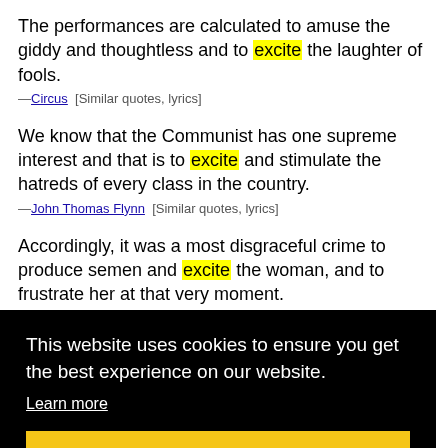The performances are calculated to amuse the giddy and thoughtless and to excite the laughter of fools.
—Circus  [Similar quotes, lyrics]
We know that the Communist has one supreme interest and that is to excite and stimulate the hatreds of every class in the country.
—John Thomas Flynn  [Similar quotes, lyrics]
Accordingly, it was a most disgraceful crime to produce semen and excite the woman, and to frustrate her at that very moment.
This website uses cookies to ensure you get the best experience on our website. Learn more Got it!
ne
admiration.